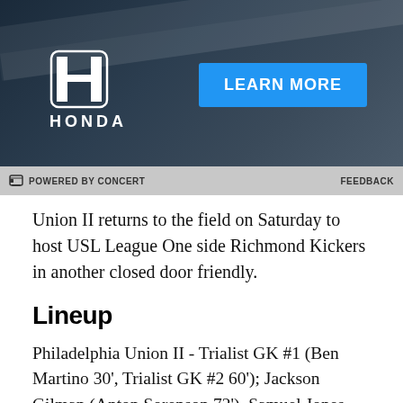[Figure (photo): Honda advertisement banner with dark gradient background, Honda logo on the left, and a blue 'LEARN MORE' button on the right]
⊟ POWERED BY CONCERT   FEEDBACK
Union II returns to the field on Saturday to host USL League One side Richmond Kickers in another closed door friendly.
Lineup
Philadelphia Union II - Trialist GK #1 (Ben Martino 30', Trialist GK #2 60'); Jackson Gilman (Anton Sorenson 72'), Samuel Jones, Dante Huckaby, Jake Spadafora (Logan Oliver 65'); Diego Lopez (Mani Diop 72'), Sean Bettenhausen, Jack Jasinski, Anthony Ramirez; Ian Abbey (Marcello Mozzola 65'), Bajung Darboe (Caden Stafford 72')